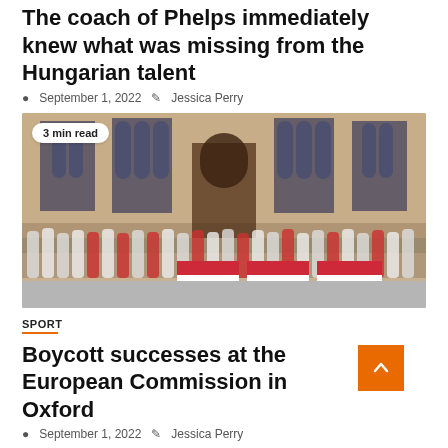The coach of Phelps immediately knew what was missing from the Hungarian talent
September 1, 2022   Jessica Perry
[Figure (photo): Group photo of Hungarian athletes and officials holding Hungarian flags in front of a Gothic-style stone building. A badge reads '3 min read'.]
SPORT
Boycott successes at the European Commission in Oxford
September 1, 2022   Jessica Perry